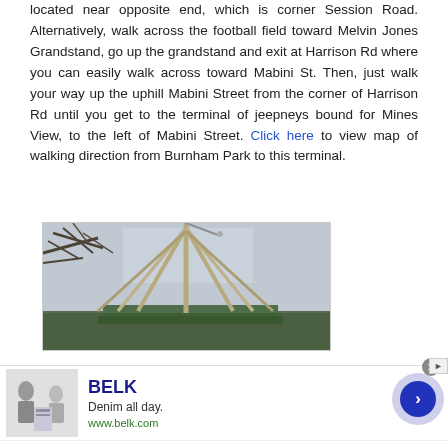located near opposite end, which is corner Session Road. Alternatively, walk across the football field toward Melvin Jones Grandstand, go up the grandstand and exit at Harrison Rd where you can easily walk across toward Mabini St. Then, just walk your way up the uphill Mabini Street from the corner of Harrison Rd until you get to the terminal of jeepneys bound for Mines View, to the left of Mabini Street. Click here to view map of walking direction from Burnham Park to this terminal.
[Figure (photo): Outdoor photograph showing a tall bamboo or wooden tripod structure against an overcast sky, with tree branches visible at top left and a green painted wooden base or structure at the bottom.]